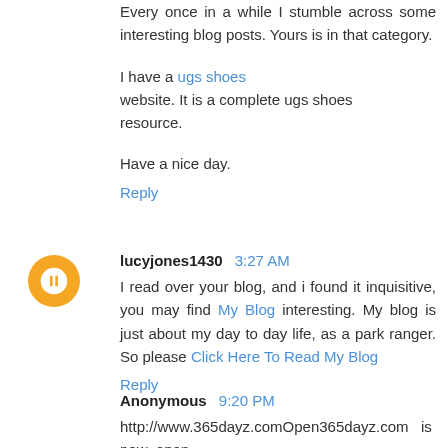Every once in a while I stumble across some interesting blog posts. Yours is in that category.
I have a ugs shoes website. It is a complete ugs shoes resource.
Have a nice day.
Reply
lucyjones1430  3:27 AM
I read over your blog, and i found it inquisitive, you may find My Blog interesting. My blog is just about my day to day life, as a park ranger. So please Click Here To Read My Blog
Reply
Anonymous  9:20 PM
http://www.365dayz.comOpen365dayz.com is now open.